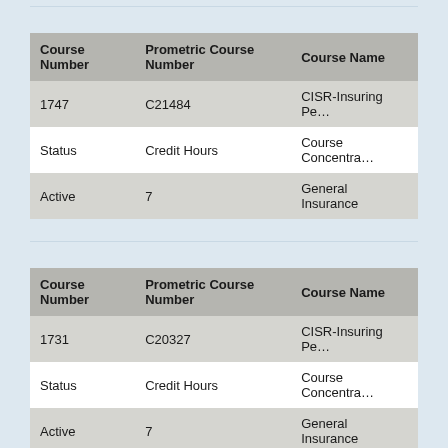| Course Number | Prometric Course Number | Course Name |
| --- | --- | --- |
| 1747 | C21484 | CISR-Insuring Pe... |
| Status | Credit Hours | Course Concentra... |
| Active | 7 | General Insurance |
| Course Number | Prometric Course Number | Course Name |
| --- | --- | --- |
| 1731 | C20327 | CISR-Insuring Pe... |
| Status | Credit Hours | Course Concentra... |
| Active | 7 | General Insurance |
| Course Number | Prometric Course Number | Course Name |
| --- | --- | --- |
| 1382 | C22821 | CISR-Insuring Pe... |